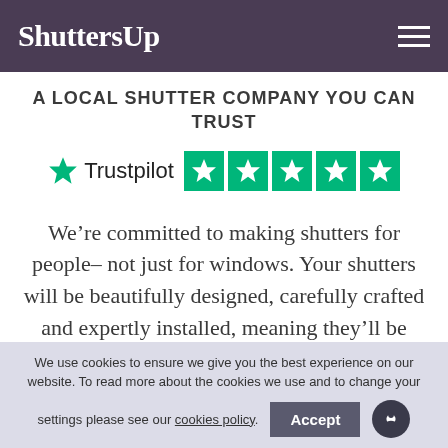ShuttersUp
A LOCAL SHUTTER COMPANY YOU CAN TRUST
[Figure (logo): Trustpilot logo with 5-star green rating boxes]
We’re committed to making shutters for people– not just for windows. Your shutters will be beautifully designed, carefully crafted and expertly installed, meaning they’ll be perfect for your
We use cookies to ensure we give you the best experience on our website. To read more about the cookies we use and to change your settings please see our cookies policy.